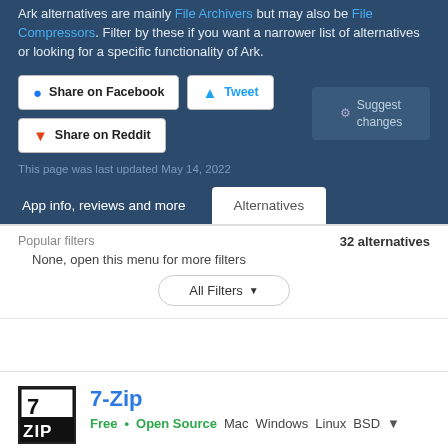Ark alternatives are mainly File Archivers but may also be File Compressors. Filter by these if you want a narrower list of alternatives or looking for a specific functionality of Ark.
Share on Facebook | Tweet | Share on Reddit | Suggest changes
This page was last updated May 14, 2022
App info, reviews and more | Alternatives
Popular filters | 32 alternatives
None, open this menu for more filters
All Filters
7-Zip
Free • Open Source   Mac   Windows   Linux   BSD